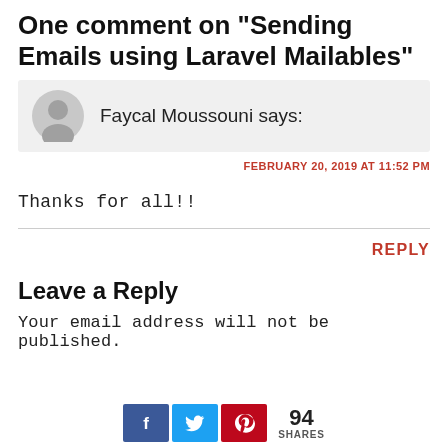One comment on “Sending Emails using Laravel Mailables”
Faycal Moussouni says:
FEBRUARY 20, 2019 AT 11:52 PM
Thanks for all!!
REPLY
Leave a Reply
Your email address will not be published.
[Figure (infographic): Social share buttons: Facebook (f), Twitter (bird icon), Pinterest (P icon), with share count 94 SHARES]